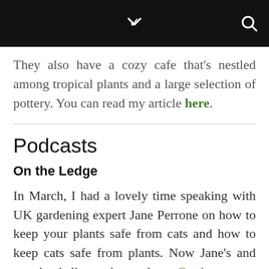They also have a cozy cafe that's nestled among tropical plants and a large selection of pottery. You can read my article here.
Podcasts
On the Ledge
In March, I had a lovely time speaking with UK gardening expert Jane Perrone on how to keep your plants safe from cats and how to keep cats safe from plants. Now Jane's and my chat is live on her podcast, On the